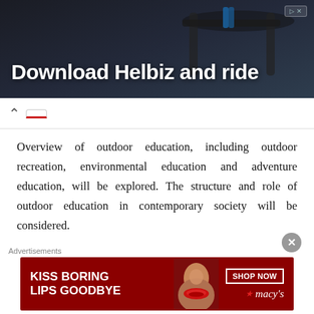[Figure (screenshot): Advertisement banner for 'Download Helbiz and ride' app, dark background with scooter handlebar image]
Overview of outdoor education, including outdoor recreation, environmental education and adventure education, will be explored. The structure and role of outdoor education in contemporary society will be considered.
6. HIST 1304 – US History Part I: 1607-1877
Evolution of the United States from colonial origins into a
[Figure (screenshot): Advertisement banner for Macy's 'Kiss Boring Lips Goodbye' campaign with woman's face and red lips]